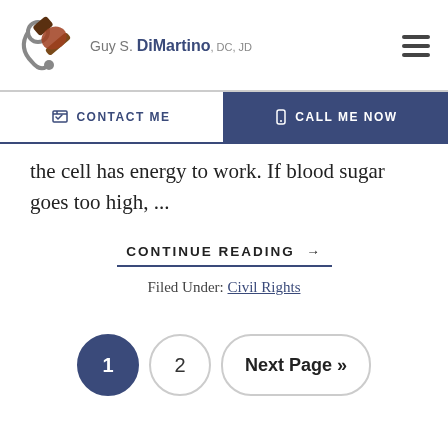Guy S. DiMartino, DC, JD
the cell has energy to work. If blood sugar goes too high, ...
CONTINUE READING →
Filed Under: Civil Rights
1  2  Next Page »